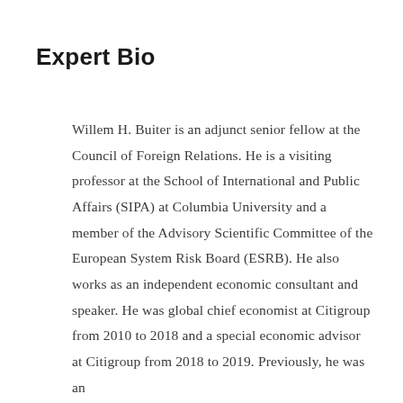Expert Bio
Willem H. Buiter is an adjunct senior fellow at the Council of Foreign Relations. He is a visiting professor at the School of International and Public Affairs (SIPA) at Columbia University and a member of the Advisory Scientific Committee of the European System Risk Board (ESRB). He also works as an independent economic consultant and speaker. He was global chief economist at Citigroup from 2010 to 2018 and a special economic advisor at Citigroup from 2018 to 2019. Previously, he was an